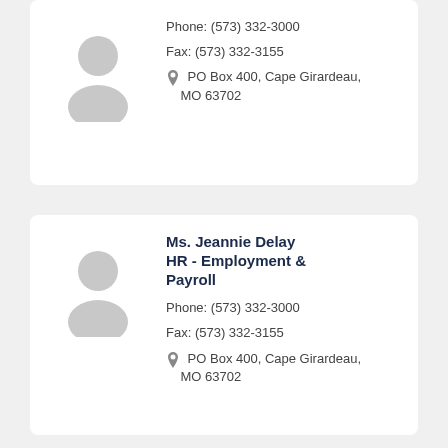[Figure (illustration): Silhouette placeholder avatar icon (top card)]
Phone: (573) 332-3000
Fax: (573) 332-3155
PO Box 400, Cape Girardeau, MO 63702
[Figure (illustration): Silhouette placeholder avatar icon (bottom card)]
Ms. Jeannie Delay HR - Employment & Payroll
Phone: (573) 332-3000
Fax: (573) 332-3155
PO Box 400, Cape Girardeau, MO 63702